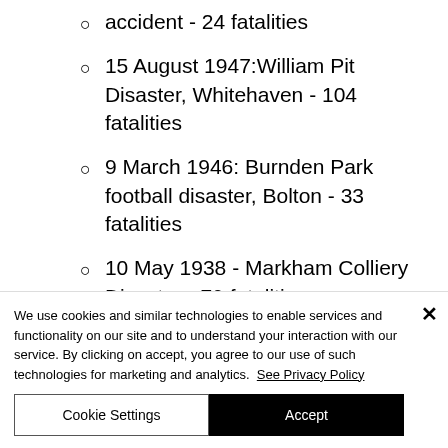accident - 24 fatalities
15 August 1947:William Pit Disaster, Whitehaven - 104 fatalities
9 March 1946: Burnden Park football disaster, Bolton - 33 fatalities
10 May 1938 - Markham Colliery Disaster - 79 fatalities
22 September 1934: Gresford...
We use cookies and similar technologies to enable services and functionality on our site and to understand your interaction with our service. By clicking on accept, you agree to our use of such technologies for marketing and analytics.  See Privacy Policy
Cookie Settings  Accept